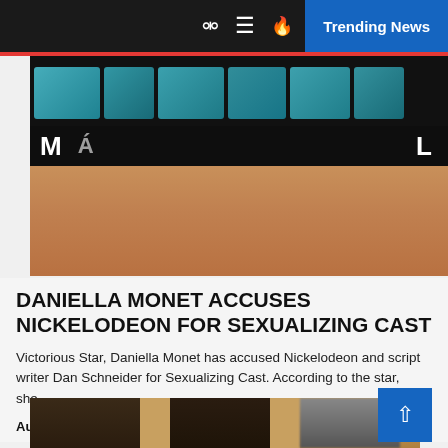Trending News
[Figure (photo): Cropped photo of a woman's neck and shoulders area with teal decorative tiles in background and dark background with letters M and L visible]
DANIELLA MONET ACCUSES NICKELODEON FOR SEXUALIZING CAST
Victorious Star, Daniella Monet has accused Nickelodeon and script writer Dan Schneider for Sexualizing Cast. According to the star, she...
Author — September 1, 2022
[Figure (photo): Partial photo of people, one with face pixelated/blurred, against a beige/brown background]